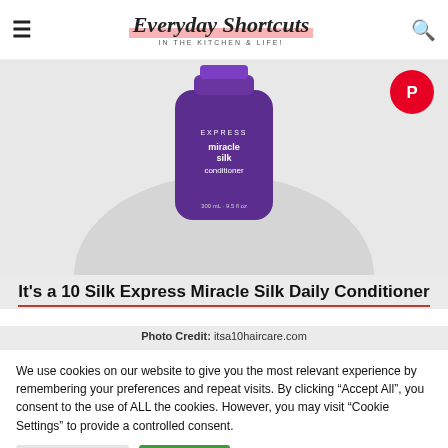Everyday Shortcuts IN THE KITCHEN & LIFE!
[Figure (photo): Purple bottle of It's a 10 Silk Express Miracle Silk Conditioner product on a light gray background]
It's a 10 Silk Express Miracle Silk Daily Conditioner
Photo Credit: itsa10haircare.com
We use cookies on our website to give you the most relevant experience by remembering your preferences and repeat visits. By clicking "Accept All", you consent to the use of ALL the cookies. However, you may visit "Cookie Settings" to provide a controlled consent.